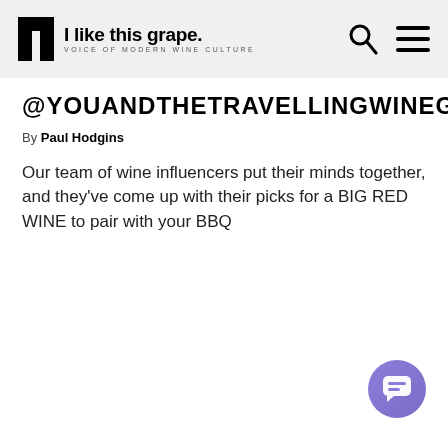I like this grape. VOICE OF MODERN WINE CULTURE
@YOUANDTHETRAVELLINGWINEGLASS:
By Paul Hodgins
Our team of wine influencers put their minds together, and they've come up with their picks for a BIG RED WINE to pair with your BBQ
[Figure (illustration): Chat/support button icon in bottom right corner, purple circle with white speech bubble icon]